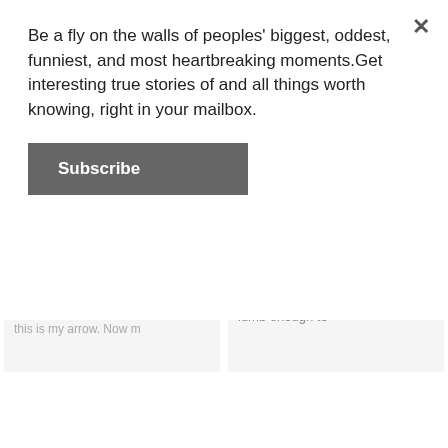Be a fly on the walls of peoples' biggest, oddest, funniest, and most heartbreaking moments.Get interesting true stories of and all things worth knowing, right in your mailbox.
Subscribe
[Figure (other): Advertisement box with 'Learn more' button and OpenWeb logo]
AdChoices ▷  Sponsored
Popular in the Community
y Hazard!' I said this instead of.
once when I tripped and accid
ey're trying to
lumb enough to